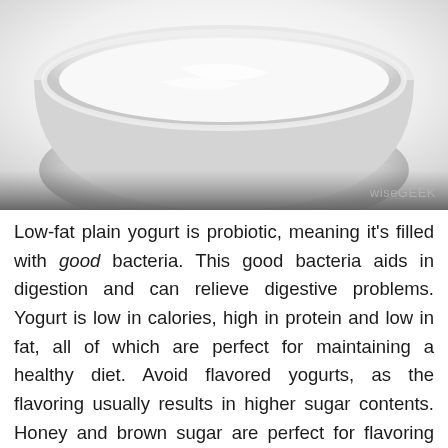[Figure (photo): A white ceramic bowl containing plain yogurt, viewed from a slightly elevated angle against a white background. The bowl is centered and shows a smooth, creamy white yogurt surface. The image fades to a darker gradient shadow at the bottom.]
Low-fat plain yogurt is probiotic, meaning it's filled with good bacteria. This good bacteria aids in digestion and can relieve digestive problems. Yogurt is low in calories, high in protein and low in fat, all of which are perfect for maintaining a healthy diet. Avoid flavored yogurts, as the flavoring usually results in higher sugar contents. Honey and brown sugar are perfect for flavoring plain yogurts.